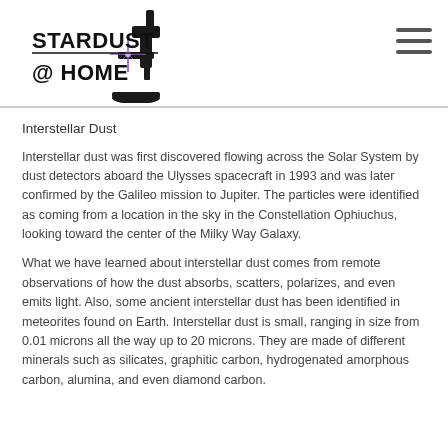[Figure (logo): Stardust @ Home logo with microscope silhouette and star graphic, bold black text reading STARDUST @ HOME]
Interstellar Dust
Interstellar dust was first discovered flowing across the Solar System by dust detectors aboard the Ulysses spacecraft in 1993 and was later confirmed by the Galileo mission to Jupiter. The particles were identified as coming from a location in the sky in the Constellation Ophiuchus, looking toward the center of the Milky Way Galaxy.
What we have learned about interstellar dust comes from remote observations of how the dust absorbs, scatters, polarizes, and even emits light. Also, some ancient interstellar dust has been identified in meteorites found on Earth. Interstellar dust is small, ranging in size from 0.01 microns all the way up to 20 microns. They are made of different minerals such as silicates, graphitic carbon, hydrogenated amorphous carbon, alumina, and even diamond carbon.